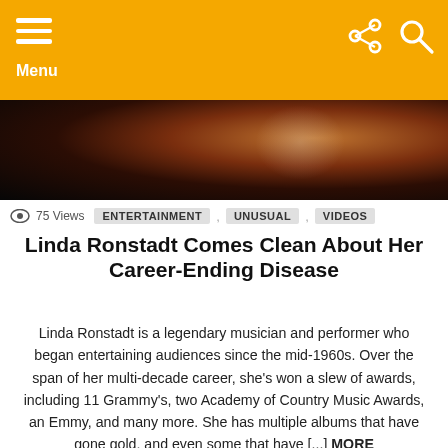Menu
[Figure (photo): Dark close-up photo with warm orange-brown tones, appears to be a face or figure in low light]
75 Views  ENTERTAINMENT , UNUSUAL , VIDEOS
Linda Ronstadt Comes Clean About Her Career-Ending Disease
Linda Ronstadt is a legendary musician and performer who began entertaining audiences since the mid-1960s. Over the span of her multi-decade career, she's won a slew of awards, including 11 Grammy's, two Academy of Country Music Awards, an Emmy, and many more. She has multiple albums that have gone gold, and even some that have [...] MORE
4 days ago
[Figure (photo): Black and white image with large bold text '9 ACTOR DIES ON A POPULAR' with vintage female portraits and a circular badge showing number 6]